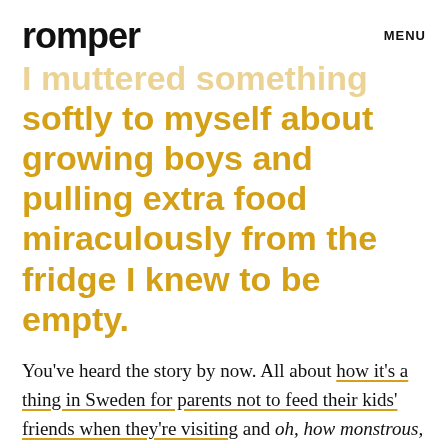romper   MENU
softly to myself about growing boys and pulling extra food miraculously from the fridge I knew to be empty.
You've heard the story by now. All about how it's a thing in Sweden for parents not to feed their kids' friends when they're visiting and oh, how monstrous, how could any parent allow someone else's kid to go hungry?